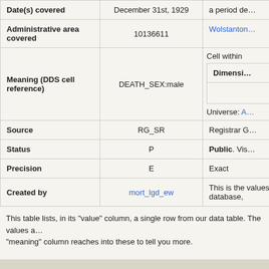| Field | Value | Meaning |
| --- | --- | --- |
| Date(s) covered | December 31st, 1929 | a period de… |
| Administrative area covered | 10136611 | Wolstanton… |
| Meaning (DDS cell reference) | DEATH_SEX:male | Cell within…
Dimensi…
Universe: A… |
| Source | RG_SR | Registrar G… |
| Status | P | Public. Vis… |
| Precision | E | Exact |
| Created by | mort_lgd_ew | This is the… values, this… database,… |
This table lists, in its "value" column, a single row from our data table. The values ar… "meaning" column reaches into these to tell you more.